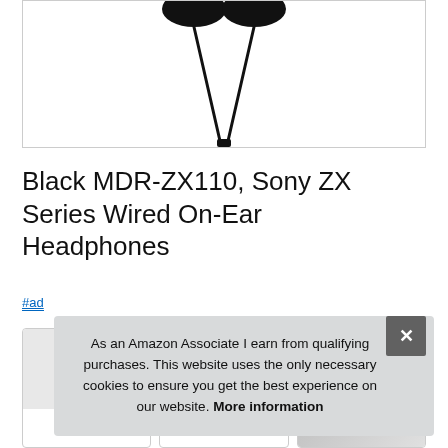[Figure (photo): Black Sony MDR-ZX110 wired on-ear headphones against white background, showing the headphone cables at bottom]
Black MDR-ZX110, Sony ZX Series Wired On-Ear Headphones
#ad
[Figure (screenshot): Row of product card thumbnails partially visible behind cookie consent overlay]
As an Amazon Associate I earn from qualifying purchases. This website uses the only necessary cookies to ensure you get the best experience on our website. More information